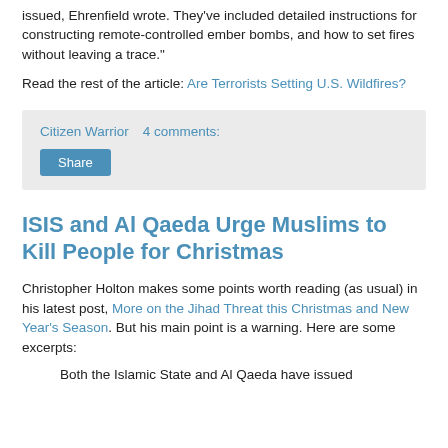issued, Ehrenfield wrote. They've included detailed instructions for constructing remote-controlled ember bombs, and how to set fires without leaving a trace."
Read the rest of the article: Are Terrorists Setting U.S. Wildfires?
Citizen Warrior    4 comments:
Share
ISIS and Al Qaeda Urge Muslims to Kill People for Christmas
Christopher Holton makes some points worth reading (as usual) in his latest post, More on the Jihad Threat this Christmas and New Year's Season. But his main point is a warning. Here are some excerpts:
Both the Islamic State and Al Qaeda have issued...